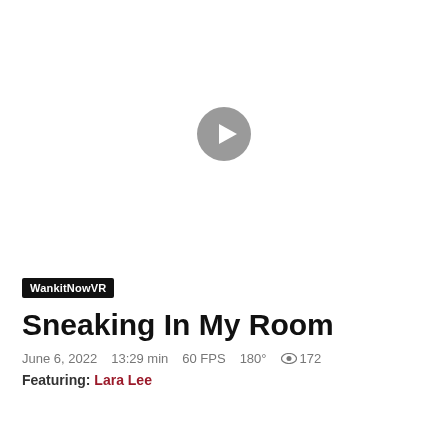[Figure (other): Video thumbnail placeholder with a circular grey play button in the center on a white background.]
WankitNowVR
Sneaking In My Room
June 6, 2022   13:29 min   60 FPS   180°   👁 172
Featuring: Lara Lee